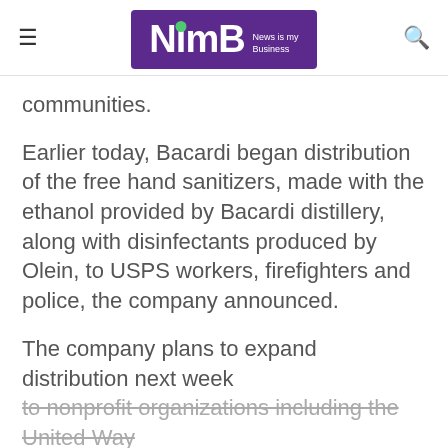NimB — News is my Business
communities.
Earlier today, Bacardi began distribution of the free hand sanitizers, made with the ethanol provided by Bacardi distillery, along with disinfectants produced by Olein, to USPS workers, firefighters and police, the company announced.
The company plans to expand distribution next week to nonprofit organizations including the United Way
Related Stories
Bacardí earns 2nd Wildlife Habitat Council Certification by doubling down on habitats